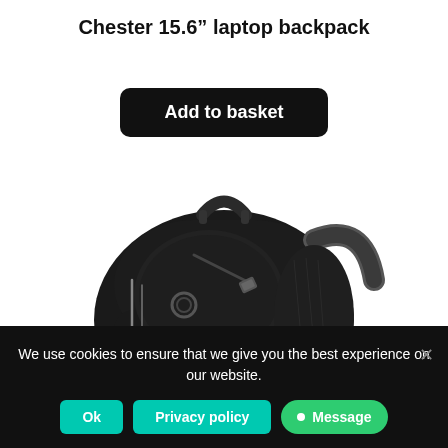Chester 15.6" laptop backpack
Add to basket
[Figure (photo): Black Chester 15.6 inch laptop backpack product photo, showing top handle, zipper compartments, and circular headphone port on the front]
We use cookies to ensure that we give you the best experience on our website.
Ok
Privacy policy
Message